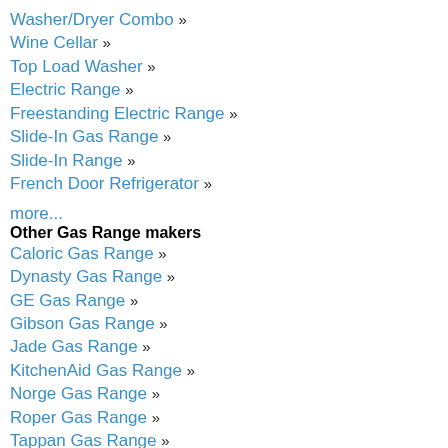Washer/Dryer Combo »
Wine Cellar »
Top Load Washer »
Electric Range »
Freestanding Electric Range »
Slide-In Gas Range »
Slide-In Range »
French Door Refrigerator »
more...
Other Gas Range makers
Caloric Gas Range »
Dynasty Gas Range »
GE Gas Range »
Gibson Gas Range »
Jade Gas Range »
KitchenAid Gas Range »
Norge Gas Range »
Roper Gas Range »
Tappan Gas Range »
Viking Gas Range »